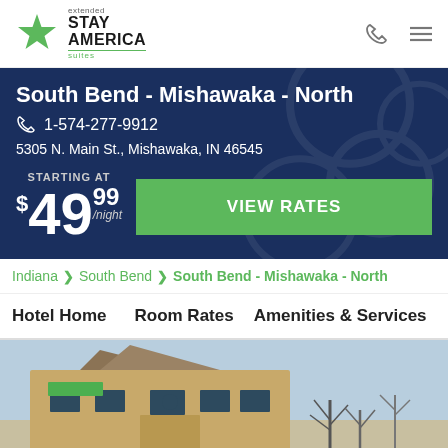[Figure (logo): Extended Stay America Suites logo with green star icon]
South Bend - Mishawaka - North
1-574-277-9912
5305 N. Main St., Mishawaka, IN 46545
STARTING AT $49.99/night
VIEW RATES
Indiana > South Bend > South Bend - Mishawaka - North
Hotel Home   Room Rates   Amenities & Services
[Figure (photo): Exterior photo of Extended Stay America hotel building in South Bend Mishawaka North, showing beige/tan building facade with green signage and bare trees]